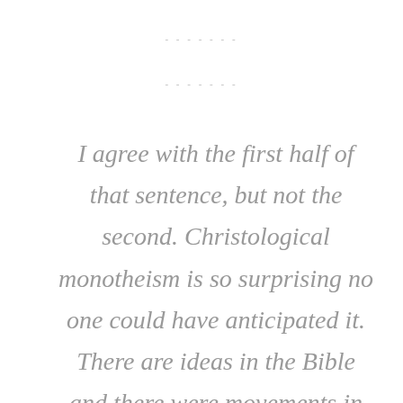I agree with the first half of that sentence, but not the second. Christological monotheism is so surprising no one could have anticipated it. There are ideas in the Bible and there were movements in the Second Temple period that are in some